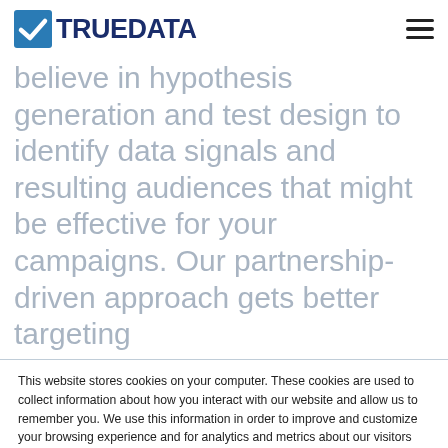TRUEDATA
believe in hypothesis generation and test design to identify data signals and resulting audiences that might be effective for your campaigns. Our partnership-driven approach gets better targeting
This website stores cookies on your computer. These cookies are used to collect information about how you interact with our website and allow us to remember you. We use this information in order to improve and customize your browsing experience and for analytics and metrics about our visitors both on this website and other media. To find out more about the cookies we use, see our Privacy Policy
If you decline, your information won't be tracked when you visit this website. A single cookie will be used in your browser to remember your preference not to be tracked.